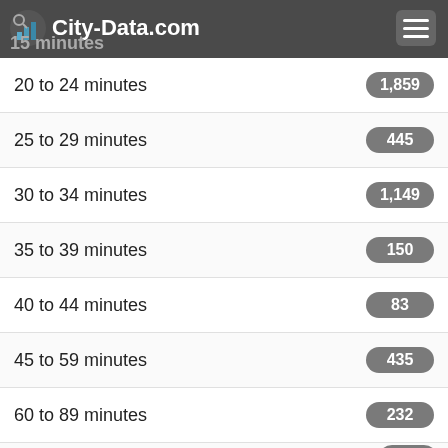City-Data.com
20 to 24 minutes
25 to 29 minutes
30 to 34 minutes
35 to 39 minutes
40 to 44 minutes
45 to 59 minutes
60 to 89 minutes
90 or more minutes
Silver Springs Shores neighborhood